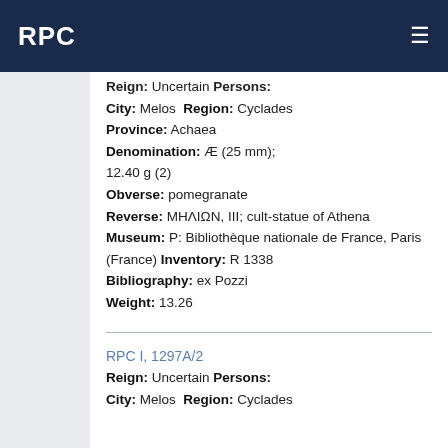RPC
Reign: Uncertain Persons: City: Melos Region: Cyclades Province: Achaea Denomination: Æ (25 mm); 12.40 g (2) Obverse: pomegranate Reverse: ΜΗΛΙΩΝ, III; cult-statue of Athena Museum: P: Bibliothèque nationale de France, Paris (France) Inventory: R 1338 Bibliography: ex Pozzi Weight: 13.26
RPC I, 1297A/2 Reign: Uncertain Persons: City: Melos Region: Cyclades